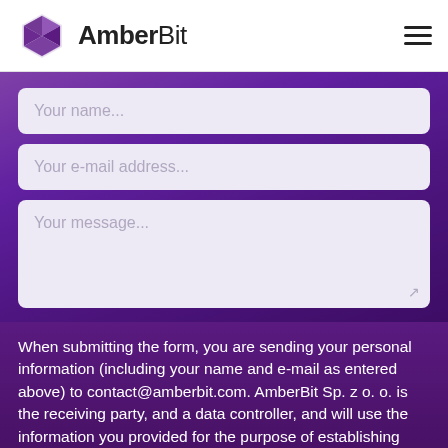AmberBit
[Figure (screenshot): Contact form with three input fields: Your name..., Your e-mail address..., Your message... on a purple gradient background]
When submitting the form, you are sending your personal information (including your name and e-mail as entered above) to contact@amberbit.com. AmberBit Sp. z o. o. is the receiving party, and a data controller, and will use the information you provided for the purpose of establishing relationship leading to possibly signing a services contract, and fulfillment of such contract only. We will not subscribe you to marketing lists, newsletters etc. You can read more about it in our Privacy Policy.